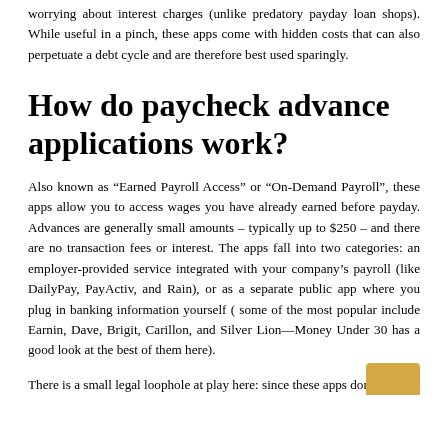worrying about interest charges (unlike predatory payday loan shops). While useful in a pinch, these apps come with hidden costs that can also perpetuate a debt cycle and are therefore best used sparingly.
How do paycheck advance applications work?
Also known as “Earned Payroll Access” or “On-Demand Payroll”, these apps allow you to access wages you have already earned before payday. Advances are generally small amounts – typically up to $250 – and there are no transaction fees or interest. The apps fall into two categories: an employer-provided service integrated with your company’s payroll (like DailyPay, PayActiv, and Rain), or as a separate public app where you plug in banking information yourself ( some of the most popular include Earnin, Dave, Brigit, Carillon, and Silver Lion—Money Under 30 has a good look at the best of them here).
There is a small legal loophole at play here: since these apps don’t charge